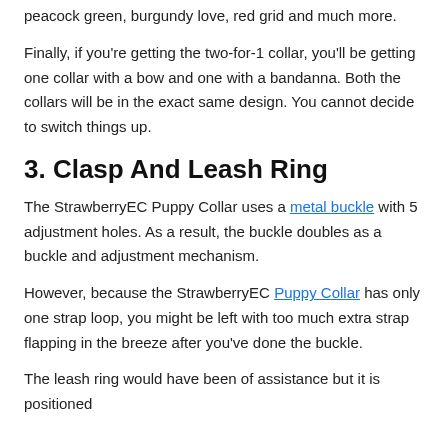peacock green, burgundy love, red grid and much more.
Finally, if you're getting the two-for-1 collar, you'll be getting one collar with a bow and one with a bandanna. Both the collars will be in the exact same design. You cannot decide to switch things up.
3. Clasp And Leash Ring
The StrawberryEC Puppy Collar uses a metal buckle with 5 adjustment holes. As a result, the buckle doubles as a buckle and adjustment mechanism.
However, because the StrawberryEC Puppy Collar has only one strap loop, you might be left with too much extra strap flapping in the breeze after you've done the buckle.
The leash ring would have been of assistance but it is positioned